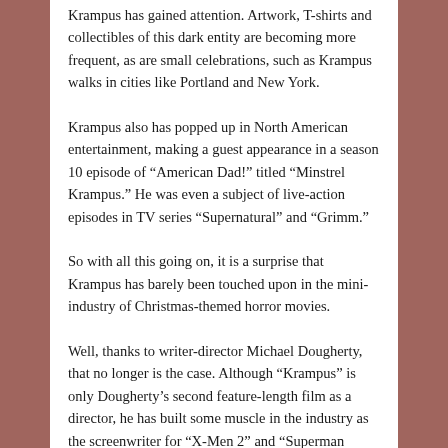Krampus has gained attention. Artwork, T-shirts and collectibles of this dark entity are becoming more frequent, as are small celebrations, such as Krampus walks in cities like Portland and New York.
Krampus also has popped up in North American entertainment, making a guest appearance in a season 10 episode of “American Dad!” titled “Minstrel Krampus.” He was even a subject of live-action episodes in TV series “Supernatural” and “Grimm.”
So with all this going on, it is a surprise that Krampus has barely been touched upon in the mini-industry of Christmas-themed horror movies.
Well, thanks to writer-director Michael Dougherty, that no longer is the case. Although “Krampus” is only Dougherty’s second feature-length film as a director, he has built some muscle in the industry as the screenwriter for “X-Men 2” and “Superman Returns,” enabling him to get the backing needed to make a high-profile movie.